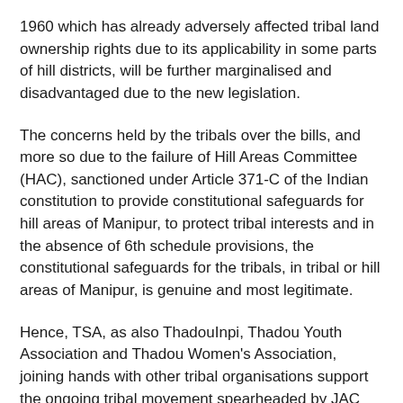1960 which has already adversely affected tribal land ownership rights due to its applicability in some parts of hill districts, will be further marginalised and disadvantaged due to the new legislation.
The concerns held by the tribals over the bills, and more so due to the failure of Hill Areas Committee (HAC), sanctioned under Article 371-C of the Indian constitution to provide constitutional safeguards for hill areas of Manipur, to protect tribal interests and in the absence of 6th schedule provisions, the constitutional safeguards for the tribals, in tribal or hill areas of Manipur, is genuine and most legitimate.
Hence, TSA, as also ThadouInpi, Thadou Youth Association and Thadou Women's Association, joining hands with other tribal organisations support the ongoing tribal movement spearheaded by JAC against anti-tribal bills and will continue to do so unwaveringly until the bills are withdrawn or unless the clauses that are against tribal interest are removed.